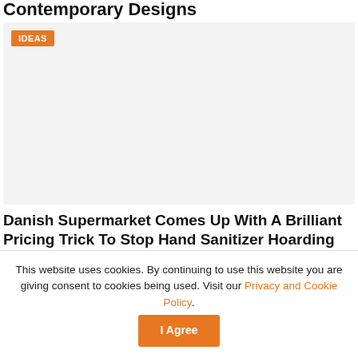Contemporary Designs
[Figure (other): Article card with light grey background and IDEAS badge in orange]
Danish Supermarket Comes Up With A Brilliant Pricing Trick To Stop Hand Sanitizer Hoarding
This website uses cookies. By continuing to use this website you are giving consent to cookies being used. Visit our Privacy and Cookie Policy.
I Agree